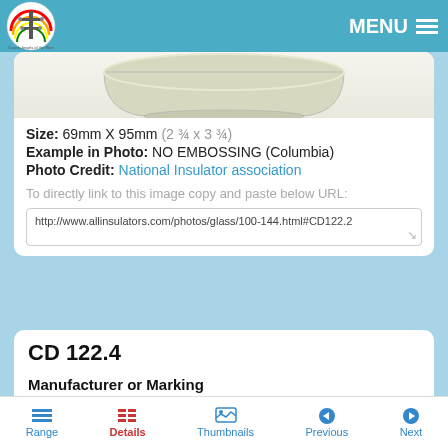MENU
[Figure (photo): Bottom view of a glass insulator, showing the dome and base of a clear/light green glass insulator against a white background]
Size: 69mm X 95mm (2 ¾ x 3 ¾)
Example in Photo: NO EMBOSSING (Columbia)
Photo Credit: National Insulator association
To directly link to this image copy and paste below URL:
http://www.allinsulators.com/photos/glass/100-144.html#CD122.2
CD 122.4
Manufacturer or Marking
HEMINGRAY (USA)
PYREX (USA)
Range  Details  Thumbnails  Previous  Next